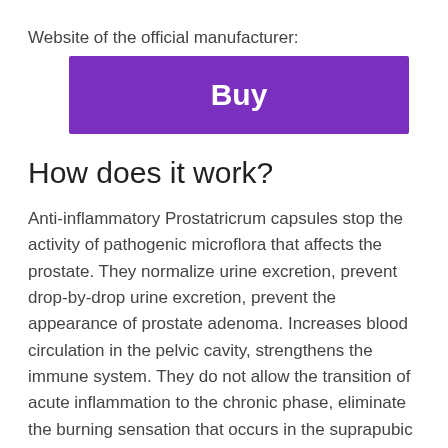Website of the official manufacturer:
[Figure (other): Purple 'Buy' button]
How does it work?
Anti-inflammatory Prostatricrum capsules stop the activity of pathogenic microflora that affects the prostate. They normalize urine excretion, prevent drop-by-drop urine excretion, prevent the appearance of prostate adenoma. Increases blood circulation in the pelvic cavity, strengthens the immune system. They do not allow the transition of acute inflammation to the chronic phase, eliminate the burning sensation that occurs in the suprapubic region during urination.